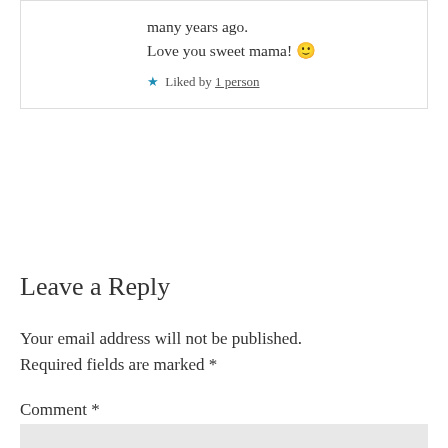many years ago.
Love you sweet mama! 🙂
★ Liked by 1 person
Leave a Reply
Your email address will not be published. Required fields are marked *
Comment *